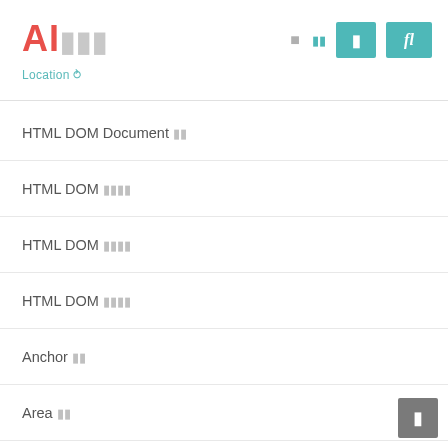AI레퍼런스 Location
HTML DOM Document 객체
HTML DOM 이벤트객체
HTML DOM 요소객체
HTML DOM 속성객체
Anchor 객체
Area 객체
Audio 객체
Object 객체
Blockquote 객체
Body 객체